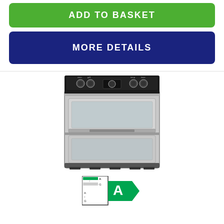[Figure (other): Green 'ADD TO BASKET' button]
[Figure (other): Dark blue 'MORE DETAILS' button]
[Figure (photo): Stainless steel double oven electric cooker with ceramic hob and multiple control knobs]
[Figure (other): Energy efficiency label showing rating A, scale A to G]